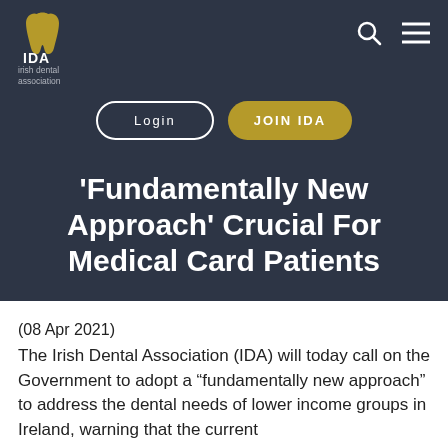[Figure (logo): Irish Dental Association (IDA) logo with golden tooth icon and text 'irish dental association']
'Fundamentally New Approach' Crucial For Medical Card Patients
(08 Apr 2021)
The Irish Dental Association (IDA) will today call on the Government to adopt a “fundamentally new approach” to address the dental needs of lower income groups in Ireland, warning that the current